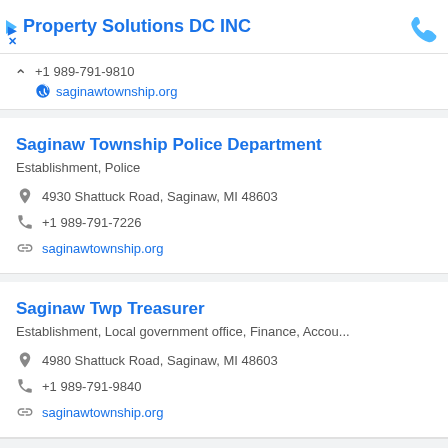Property Solutions DC INC
+1 989-791-9810
saginawtownship.org
Saginaw Township Police Department
Establishment, Police
4930 Shattuck Road, Saginaw, MI 48603
+1 989-791-7226
saginawtownship.org
Saginaw Twp Treasurer
Establishment, Local government office, Finance, Accou...
4980 Shattuck Road, Saginaw, MI 48603
+1 989-791-9840
saginawtownship.org